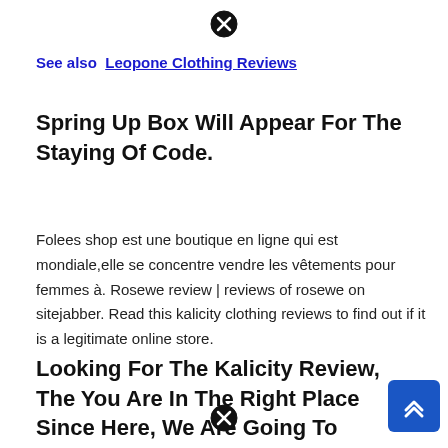[Figure (other): Close/dismiss icon (circled X) at top center]
See also  Leopone Clothing Reviews
Spring Up Box Will Appear For The Staying Of Code.
Folees shop est une boutique en ligne qui est mondiale,elle se concentre vendre les vêtements pour femmes à. Rosewe review | reviews of rosewe on sitejabber. Read this kalicity clothing reviews to find out if it is a legitimate online store.
Looking For The Kalicity Review, The You Are In The Right Place Since Here, We Are Going To Provide You The...
[Figure (other): Scroll-to-top button (blue square with double chevron up arrow) at bottom right]
[Figure (other): Close/dismiss icon (circled X) at bottom center]